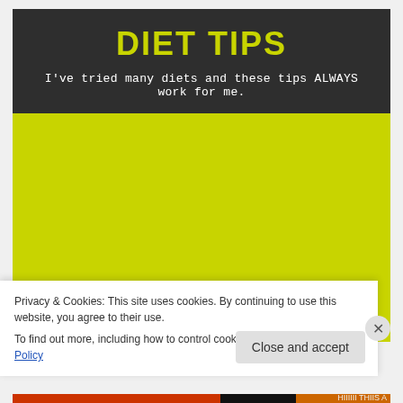DIET TIPS
I've tried many diets and these tips ALWAYS work for me.
[Figure (photo): Thumbnail 1 with number 1 label showing citrus fruits]
[Figure (photo): Thumbnail 2 with number 2 label showing food]
Privacy & Cookies: This site uses cookies. By continuing to use this website, you agree to their use.
To find out more, including how to control cookies, see here: Cookie Policy